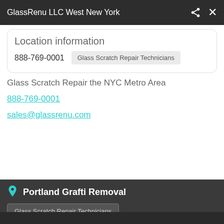GlassRenu LLC West New York
Location information
888-769-0001   Glass Scratch Repair Technicians
Glass Scratch Repair the NYC Metro Area
888-769-0001
sales@glassrenu.com
Portland Grafti Removal
Glass Scratch Repair Technicians